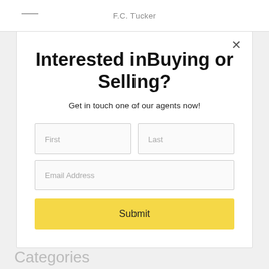F.C. Tucker
Interested inBuying or Selling?
Get in touch one of our agents now!
First
Last
Email Address
Submit
Categories